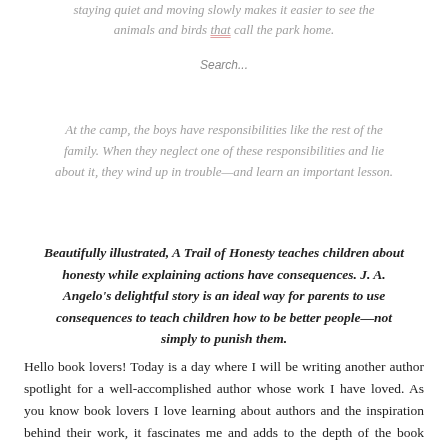staying quiet and moving slowly makes it easier to see the animals and birds that call the park home.
Search...
At the camp, the boys have responsibilities like the rest of the family. When they neglect one of these responsibilities and lie about it, they wind up in trouble—and learn an important lesson.
Beautifully illustrated, A Trail of Honesty teaches children about honesty while explaining actions have consequences. J. A. Angelo's delightful story is an ideal way for parents to use consequences to teach children how to be better people—not simply to punish them.
Hello book lovers! Today is a day where I will be writing another author spotlight for a well-accomplished author whose work I have loved. As you know book lovers I love learning about authors and the inspiration behind their work, it fascinates me and adds to the depth of the book because the reader will be able to better understand it. That